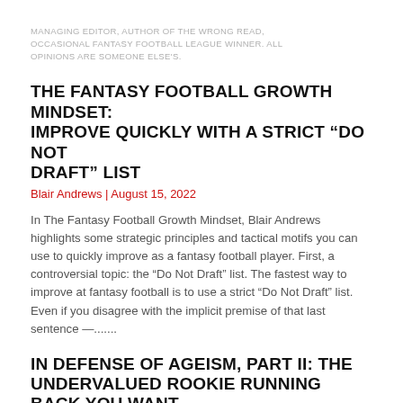MANAGING EDITOR, AUTHOR OF THE WRONG READ, OCCASIONAL FANTASY FOOTBALL LEAGUE WINNER. ALL OPINIONS ARE SOMEONE ELSE'S.
THE FANTASY FOOTBALL GROWTH MINDSET: IMPROVE QUICKLY WITH A STRICT “DO NOT DRAFT” LIST
Blair Andrews | August 15, 2022
In The Fantasy Football Growth Mindset, Blair Andrews highlights some strategic principles and tactical motifs you can use to quickly improve as a fantasy football player. First, a controversial topic: the “Do Not Draft” list. The fastest way to improve at fantasy football is to use a strict “Do Not Draft” list. Even if you disagree with the implicit premise of that last sentence —.......
IN DEFENSE OF AGEISM, PART II: THE UNDERVALUED ROOKIE RUNNING BACK YOU WANT